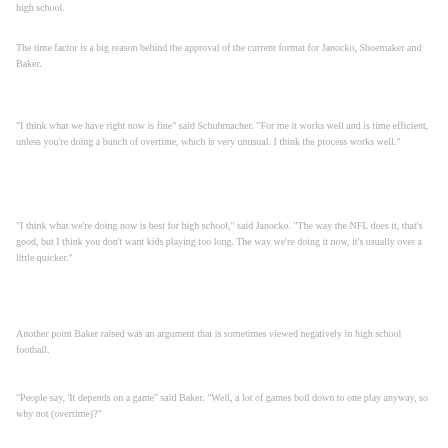high school.
The time factor is a big reason behind the approval of the current format for Janocko, Shoemaker and Baker.
"I think what we have right now is fine" said Schuhmacher. "For me it works well and is time efficient, unless you're doing a bunch of overtime, which is very unusual. I think the process works well."
"I think what we're doing now is best for high school," said Janocko. "The way the NFL does it, that's good, but I think you don't want kids playing too long. The way we're doing it now, it's usually over a little quicker."
Another point Baker raised was an argument that is sometimes viewed negatively in high school football.
"People say, 'It depends on a game'' said Baker. "Well, a lot of games boil down to one play anyway, so why not (overtime)?"